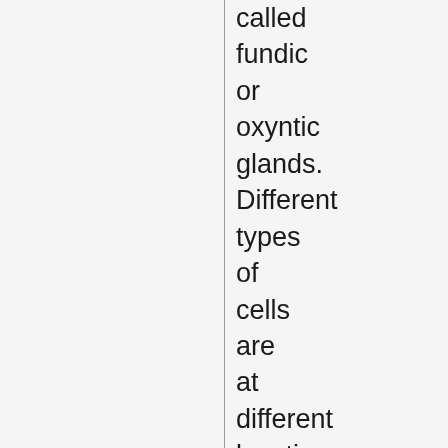called fundic or oxyntic glands. Different types of cells are at different locations down the pits.